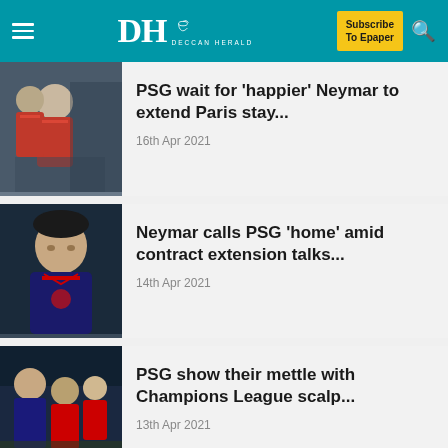DH DECCAN HERALD — Subscribe To Epaper
PSG wait for 'happier' Neymar to extend Paris stay...
16th Apr 2021
Neymar calls PSG 'home' amid contract extension talks...
14th Apr 2021
PSG show their mettle with Champions League scalp...
13th Apr 2021